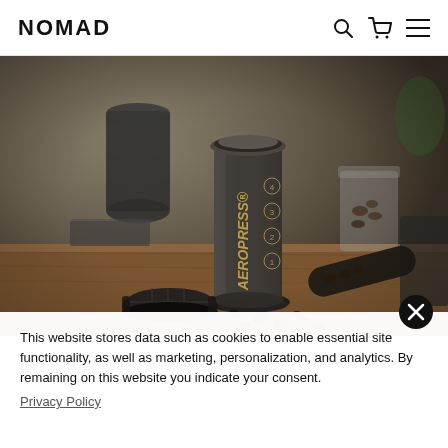NOMAD
[Figure (photo): An AeroPress coffee maker sitting on a wooden table with coffee beans, a black mug, and various coffee accessories in the background. Dark, moody kitchen setting.]
This website stores data such as cookies to enable essential site functionality, as well as marketing, personalization, and analytics. By remaining on this website you indicate your consent. Privacy Policy